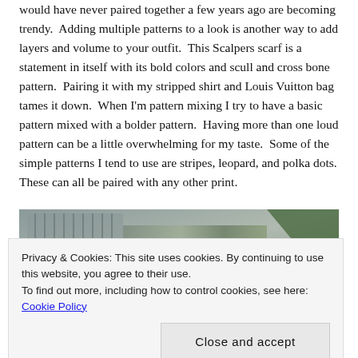would have never paired together a few years ago are becoming trendy. Adding multiple patterns to a look is another way to add layers and volume to your outfit. This Scalpers scarf is a statement in itself with its bold colors and scull and cross bone pattern. Pairing it with my stripped shirt and Louis Vuitton bag tames it down. When I'm pattern mixing I try to have a basic pattern mixed with a bolder pattern. Having more than one loud pattern can be a little overwhelming for my taste. Some of the simple patterns I tend to use are stripes, leopard, and polka dots. These can all be paired with any other print.
[Figure (photo): Outdoor winter scene with bare trees and evergreen trees, building in background; lower portion shows a person in red.]
Privacy & Cookies: This site uses cookies. By continuing to use this website, you agree to their use.
To find out more, including how to control cookies, see here: Cookie Policy
Close and accept